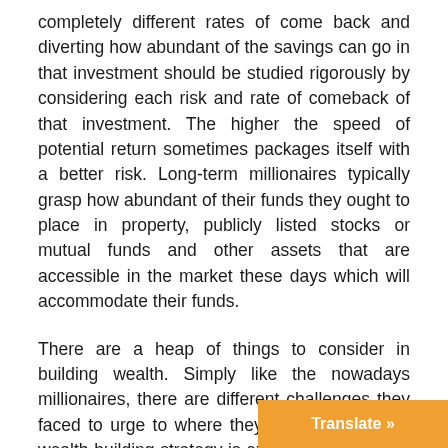completely different rates of come back and diverting how abundant of the savings can go in that investment should be studied rigorously by considering each risk and rate of comeback of that investment. The higher the speed of potential return sometimes packages itself with a better risk. Long-term millionaires typically grasp how abundant of their funds they ought to place in property, publicly listed stocks or mutual funds and other assets that are accessible in the market these days which will accommodate their funds.
There are a heap of things to consider in building wealth. Simply like the nowadays millionaires, there are different challenges they faced to urge to where they are right now. No wealth building strategy is excellent. There may be incorrect decisions however with careful coming up with, there can also achieve success ones. The key lies on fin...